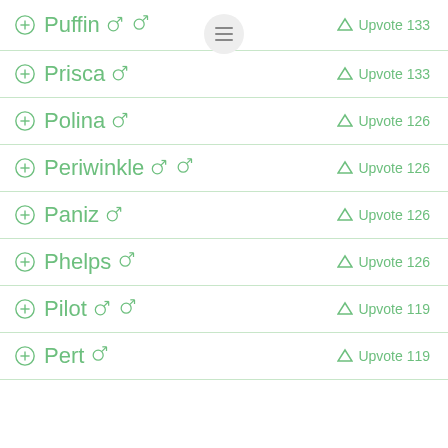Puffin ♀♂ Upvote 133
Prisca ♀ Upvote 133
Polina ♀ Upvote 126
Periwinkle ♀♂ Upvote 126
Paniz ♀ Upvote 126
Phelps ♂ Upvote 126
Pilot ♀♂ Upvote 119
Pert ♂ Upvote 119